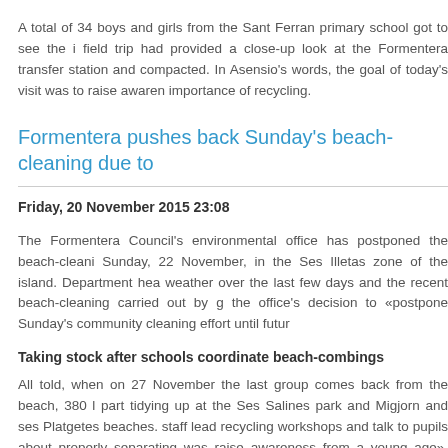A total of 34 boys and girls from the Sant Ferran primary school got to see the i... field trip had provided a close-up look at the Formentera transfer station and compacted. In Asensio's words, the goal of today's visit was to raise awareness importance of recycling.
Formentera pushes back Sunday's beach-cleaning due to
Friday, 20 November 2015 23:08
The Formentera Council's environmental office has postponed the beach-cleaning Sunday, 22 November, in the Ses Illetas zone of the island. Department head weather over the last few days and the recent beach-cleaning carried out by gr the office's decision to «postpone Sunday's community cleaning effort until future
Taking stock after schools coordinate beach-combings
All told, when on 27 November the last group comes back from the beach, 380 l part tidying up at the Ses Salines park and Migjorn and ses Platgetes beaches. staff lead recycling workshops and talk to pupils about properly separating was raise awareness from a young age», said Councillor Aguilera, who was sure to th